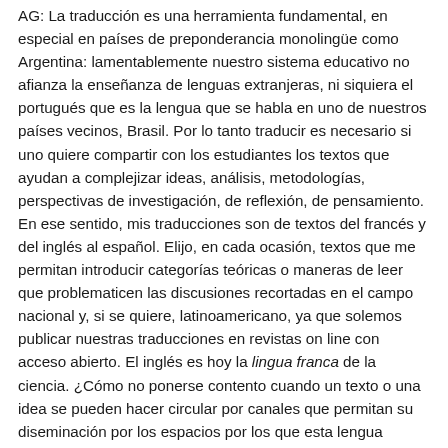AG: La traducción es una herramienta fundamental, en especial en países de preponderancia monolingüe como Argentina: lamentablemente nuestro sistema educativo no afianza la enseñanza de lenguas extranjeras, ni siquiera el portugués que es la lengua que se habla en uno de nuestros países vecinos, Brasil. Por lo tanto traducir es necesario si uno quiere compartir con los estudiantes los textos que ayudan a complejizar ideas, análisis, metodologías, perspectivas de investigación, de reflexión, de pensamiento. En ese sentido, mis traducciones son de textos del francés y del inglés al español. Elijo, en cada ocasión, textos que me permitan introducir categorías teóricas o maneras de leer que problematicen las discusiones recortadas en el campo nacional y, si se quiere, latinoamericano, ya que solemos publicar nuestras traducciones en revistas on line con acceso abierto. El inglés es hoy la lingua franca de la ciencia. ¿Cómo no ponerse contento cuando un texto o una idea se pueden hacer circular por canales que permitan su diseminación por los espacios por los que esta lengua transita?